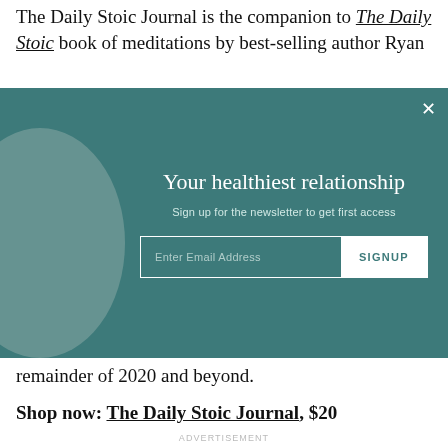The Daily Stoic Journal is the companion to The Daily Stoic book of meditations by best-selling author Ryan
[Figure (screenshot): Email newsletter signup modal overlay with teal/dark green background, decorative grey circle on left, title 'Your healthiest relationship', subtitle 'Sign up for the newsletter to get first access', email input field and SIGNUP button. Close X button in top right.]
remainder of 2020 and beyond.
Shop now: The Daily Stoic Journal, $20
ADVERTISEMENT